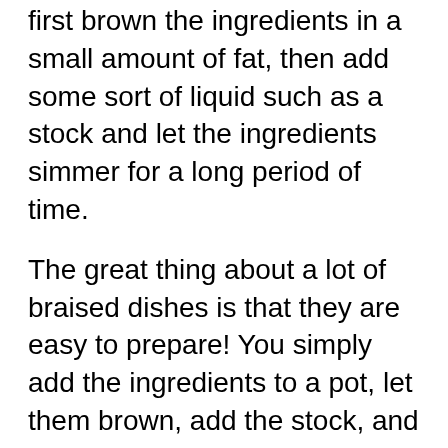first brown the ingredients in a small amount of fat, then add some sort of liquid such as a stock and let the ingredients simmer for a long period of time.
The great thing about a lot of braised dishes is that they are easy to prepare! You simply add the ingredients to a pot, let them brown, add the stock, and wait! Many of my favourite braised dishes are one pot wonders! This means that they are a complete meal in just one pot: containing protein, vegetables and grains! Meals like these mean easy prep and better yet, easy cleanup! Believe it or not, it can get easier! If you have a crock pot you can simply throw all your ingredients into the pot and let them cook for the whole day and have a